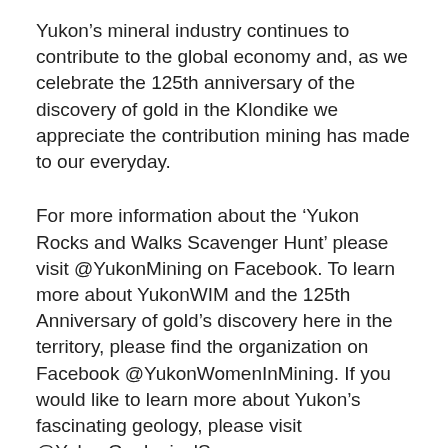Yukon's mineral industry continues to contribute to the global economy and, as we celebrate the 125th anniversary of the discovery of gold in the Klondike we appreciate the contribution mining has made to our everyday.
For more information about the 'Yukon Rocks and Walks Scavenger Hunt' please visit @YukonMining on Facebook. To learn more about YukonWIM and the 125th Anniversary of gold's discovery here in the territory, please find the organization on Facebook @YukonWomenInMining. If you would like to learn more about Yukon's fascinating geology, please visit @YukonGeologicalSurvey.